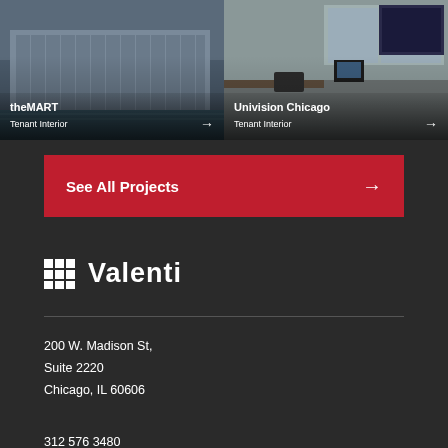[Figure (photo): Aerial photo of theMART building in Chicago with river in foreground]
theMART
Tenant Interior →
[Figure (photo): Interior photo of Univision Chicago office space with Univision Chicago branding logo visible]
Univision Chicago
Tenant Interior →
See All Projects →
[Figure (logo): Valenti company logo with grid icon and bold text]
200 W. Madison St,
Suite 2220
Chicago, IL 60606
312 576 3480